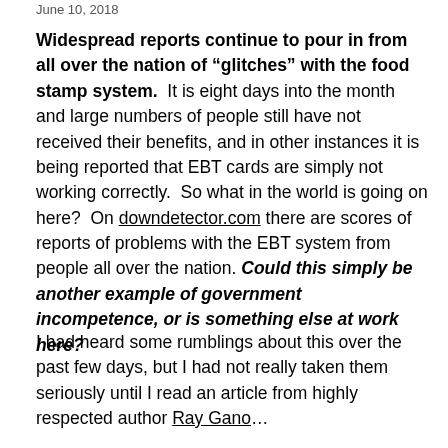June 10, 2018
Widespread reports continue to pour in from all over the nation of “glitches” with the food stamp system. It is eight days into the month and large numbers of people still have not received their benefits, and in other instances it is being reported that EBT cards are simply not working correctly. So what in the world is going on here? On downdetector.com there are scores of reports of problems with the EBT system from people all over the nation. Could this simply be another example of government incompetence, or is something else at work here?
I had heard some rumblings about this over the past few days, but I had not really taken them seriously until I read an article from highly respected author Ray Gano…